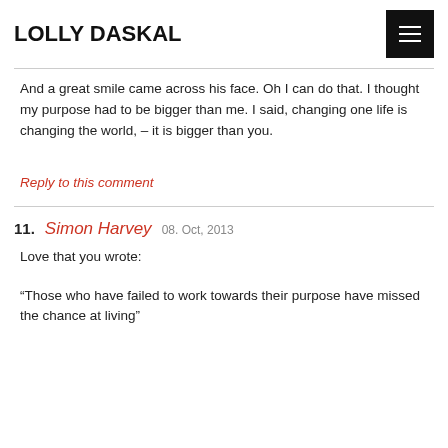LOLLY DASKAL
And a great smile came across his face. Oh I can do that. I thought my purpose had to be bigger than me. I said, changing one life is changing the world, – it is bigger than you.
Reply to this comment
11. Simon Harvey  08. Oct, 2013
Love that you wrote:
“Those who have failed to work towards their purpose have missed the chance at living”